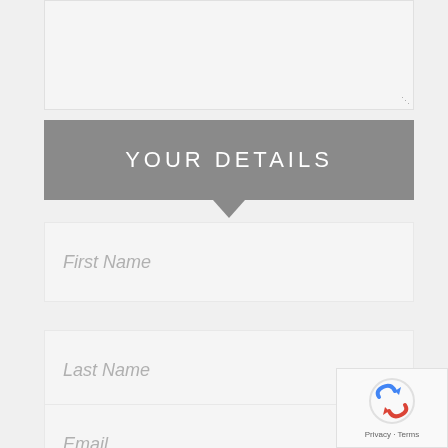[Figure (screenshot): Textarea input field (empty) at the top of a web form]
YOUR DETAILS
First Name
Last Name
Email
[Figure (logo): Google reCAPTCHA badge with Privacy and Terms links]